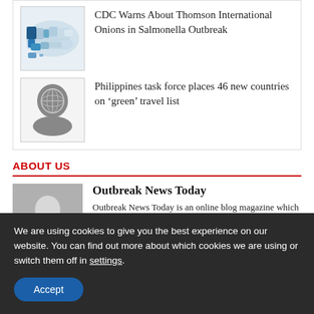[Figure (illustration): US map thumbnail showing Salmonella outbreak data with blue shading]
CDC Warns About Thomson International Onions in Salmonella Outbreak
[Figure (illustration): Head silhouette with globe/world map overlay]
Philippines task force places 46 new countries on ‘green’ travel list
ABOUT US
[Figure (photo): Generic user avatar placeholder – grey silhouette of a person]
Outbreak News Today
Outbreak News Today is an online blog magazine which focuses on news and information about infectious diseases and outbreaks. Editor-In-Chief: Robert Herriman Contact: theglobaldispatch@gmail.com
We are using cookies to give you the best experience on our website. You can find out more about which cookies we are using or switch them off in settings.
Accept